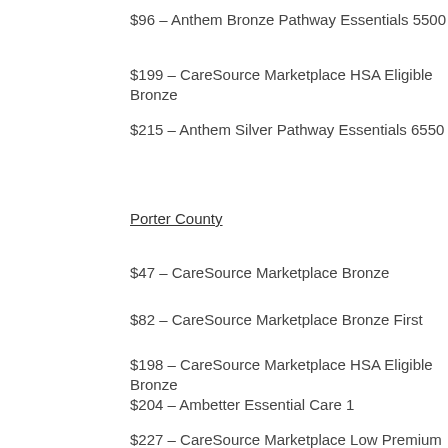$96 – Anthem Bronze Pathway Essentials 5500
$199 – CareSource Marketplace HSA Eligible Bronze
$215 – Anthem Silver Pathway Essentials 6550
Porter County
$47 – CareSource Marketplace Bronze
$82 – CareSource Marketplace Bronze First
$198 – CareSource Marketplace HSA Eligible Bronze
$204 – Ambetter Essential Care 1
$227 – CareSource Marketplace Low Premium Silver